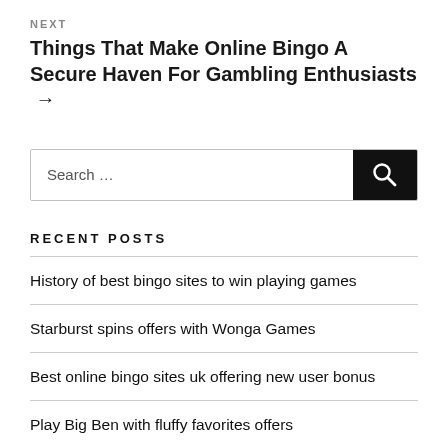NEXT
Things That Make Online Bingo A Secure Haven For Gambling Enthusiasts →
[Figure (other): Search box with text input area labeled 'Search …' and a dark search button with magnifying glass icon]
RECENT POSTS
History of best bingo sites to win playing games
Starburst spins offers with Wonga Games
Best online bingo sites uk offering new user bonus
Play Big Ben with fluffy favorites offers